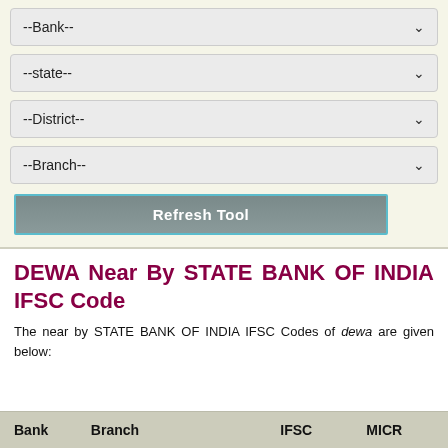[Figure (screenshot): Web form with four dropdown selectors (Bank, state, District, Branch) and a Refresh Tool button, on a light yellow-green background]
DEWA Near By STATE BANK OF INDIA IFSC Code
The near by STATE BANK OF INDIA IFSC Codes of dewa are given below:
| Bank | Branch | IFSC | MICR |
| --- | --- | --- | --- |